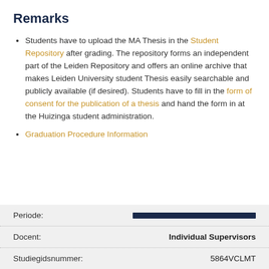Remarks
Students have to upload the MA Thesis in the Student Repository after grading. The repository forms an independent part of the Leiden Repository and offers an online archive that makes Leiden University student Thesis easily searchable and publicly available (if desired). Students have to fill in the form of consent for the publication of a thesis and hand the form in at the Huizinga student administration.
Graduation Procedure Information
| Label | Value |
| --- | --- |
| Periode: |  |
| Docent: | Individual Supervisors |
| Studiegidsnummer: | 5864VCLMT |